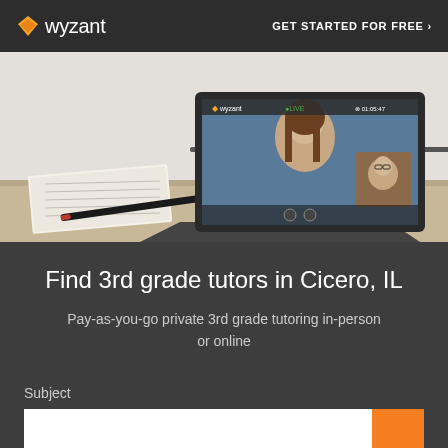wyzant  GET STARTED FOR FREE ›
[Figure (photo): Photo of a laptop on a desk showing a video tutoring session with two people, a notebook and pen beside a white mug, brick wall background]
Find 3rd grade tutors in Cicero, IL
Pay-as-you-go private 3rd grade tutoring in-person or online
Subject